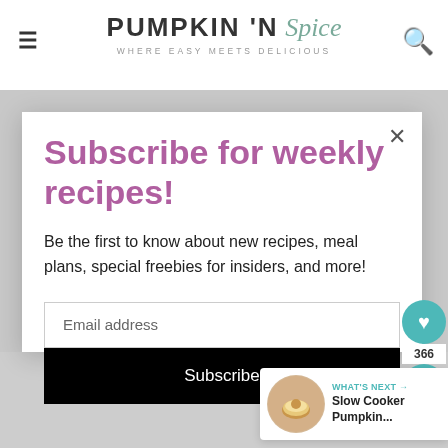PUMPKIN N Spice WHERE EASY MEETS DELICIOUS
Subscribe for weekly recipes!
Be the first to know about new recipes, meal plans, special freebies for insiders, and more!
Email address
Subscribe
366
WHAT'S NEXT → Slow Cooker Pumpkin...
GAYLE SAYS
DECEMBER 6, 2014 AT 10:04 PM